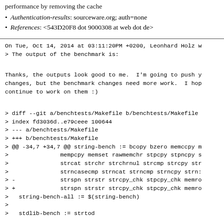Authentication-results: sourceware.org; auth=none
References: <543D20F8 dot 9000308 at web dot de>
On Tue, Oct 14, 2014 at 03:11:20PM +0200, Leonhard Holz w
> The output of the benchmark is:
Thanks, the outputs look good to me.  I'm going to push y
changes, but the benchmark changes need more work.  I hop
continue to work on them :)
> diff --git a/benchtests/Makefile b/benchtests/Makefile
> index fd3036d..e79ceee 100644
> --- a/benchtests/Makefile
> +++ b/benchtests/Makefile
> @@ -34,7 +34,7 @@ string-bench := bcopy bzero memccpy m
>               mempcpy memset rawmemchr stpcpy stpncpy s
>               strcat strchr strchrnul strcmp strcpy str
>               strncasecmp strncat strncmp strncpy strn:
> -             strspn strstr strcpy_chk stpcpy_chk memro
> +             strspn strstr strcpy_chk stpcpy_chk memro
>   string-bench-all := $(string-bench)
> 
>   stdlib-bench := strtod
You need to ensure that the locales are generated first.
target does this already.  Also my fault that I didn't po
earlier that you'll need to set GCONV_PATH and LOCPATH to
make the test use the generated locales.  Otherwise they